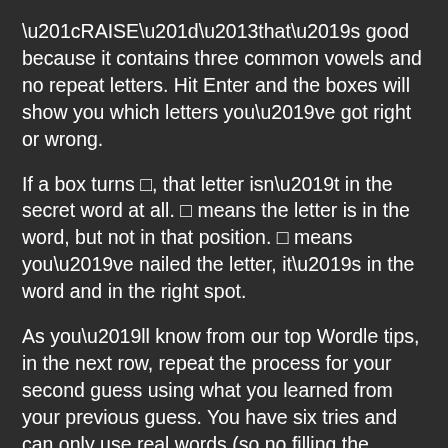“RAISE”–that’s good because it contains three common vowels and no repeat letters. Hit Enter and the boxes will show you which letters you’ve got right or wrong.
If a box turns □, that letter isn’t in the secret word at all. □ means the letter is in the word, but not in that position. □ means you’ve nailed the letter, it’s in the word and in the right spot.
As you’ll know from our top Wordle tips, in the next row, repeat the process for your second guess using what you learned from your previous guess. You have six tries and can only use real words (so no filling the boxes with EEEEE to see if there’s an E).